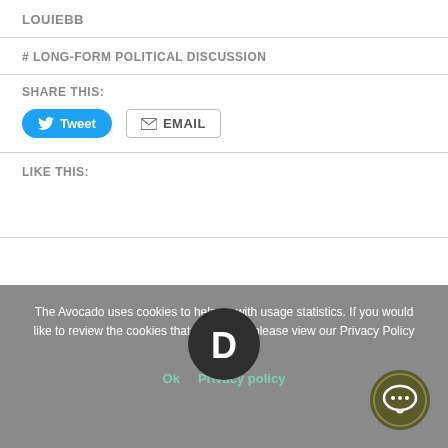LOUIEBB
# LONG-FORM POLITICAL DISCUSSION
SHARE THIS:
[Figure (screenshot): Tweet button (blue rounded) and EMAIL button (outlined)]
LIKE THIS:
The Avocado uses cookies to help us with usage statistics. If you would like to review the cookies that we collect, please view our Privacy Policy page.
Ok   Privacy policy